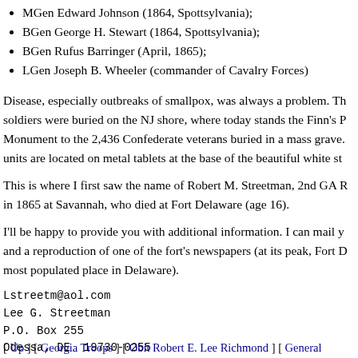MGen Edward Johnson (1864, Spottsylvania);
BGen George H. Stewart (1864, Spottsylvania);
BGen Rufus Barringer (April, 1865);
LGen Joseph B. Wheeler (commander of Cavalry Forces)
Disease, especially outbreaks of smallpox, was always a problem. Th soldiers were buried on the NJ shore, where today stands the Finn's P Monument to the 2,436 Confederate veterans buried in a mass grave. units are located on metal tablets at the base of the beautiful white st
This is where I first saw the name of Robert M. Streetman, 2nd GA R in 1865 at Savannah, who died at Fort Delaware (age 16).
I'll be happy to provide you with additional information. I can mail y and a reproduction of one of the fort's newspapers (at its peak, Fort D most populated place in Delaware).
Lstreetm@aol.com
Lee G. Streetman
P.O. Box 255
Odessa, DE  19730-0255
Member of Fort Delaware Society and has access to their l
[ Up ] [ Georgia Troops ] [ Obit Robert E. Lee Richmond ] [ General